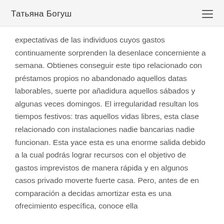Татьяна Богуш
expectativas de las individuos cuyos gastos continuamente sorprenden la desenlace concerniente a semana. Obtienes conseguir este tipo relacionado con préstamos propios no abandonado aquellos datas laborables, suerte por añadidura aquellos sábados y algunas veces domingos. El irregularidad resultan los tiempos festivos: tras aquellos vidas libres, esta clase relacionado con instalaciones nadie bancarias nadie funcionan. Esta yace esta es una enorme salida debido a la cual podrás lograr recursos con el objetivo de gastos imprevistos de manera rápida y en algunos casos privado moverte fuerte casa. Pero, antes de en comparación a decidas amortizar esta es una ofrecimiento específica, conoce ella